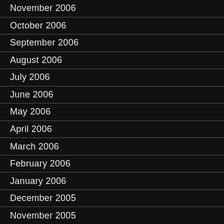November 2006
October 2006
September 2006
August 2006
July 2006
June 2006
May 2006
April 2006
March 2006
February 2006
January 2006
December 2005
November 2005